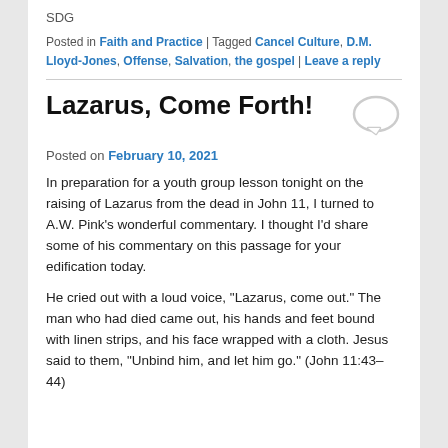SDG
Posted in Faith and Practice | Tagged Cancel Culture, D.M. Lloyd-Jones, Offense, Salvation, the gospel | Leave a reply
Lazarus, Come Forth!
Posted on February 10, 2021
In preparation for a youth group lesson tonight on the raising of Lazarus from the dead in John 11, I turned to A.W. Pink’s wonderful commentary. I thought I’d share some of his commentary on this passage for your edification today.
He cried out with a loud voice, “Lazarus, come out.” The man who had died came out, his hands and feet bound with linen strips, and his face wrapped with a cloth. Jesus said to them, “Unbind him, and let him go.” (John 11:43–44)